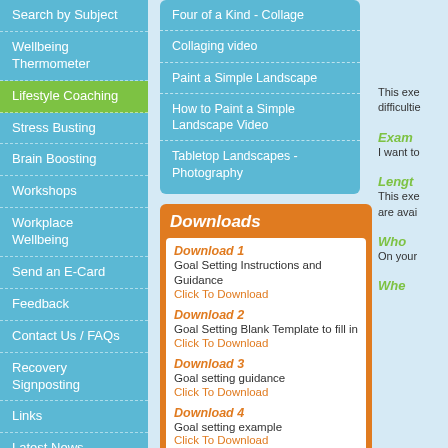Search by Subject
Wellbeing Thermometer
Lifestyle Coaching
Stress Busting
Brain Boosting
Workshops
Workplace Wellbeing
Send an E-Card
Feedback
Contact Us / FAQs
Recovery Signposting
Links
Latest News
Four of a Kind - Collage
Collaging video
Paint a Simple Landscape
How to Paint a Simple Landscape Video
Tabletop Landscapes - Photography
Downloads
Download 1
Goal Setting Instructions and Guidance
Click To Download
Download 2
Goal Setting Blank Template to fill in
Click To Download
Download 3
Goal setting guidance
Click To Download
Download 4
Goal setting example
Click To Download
Download 5
Goal Setting Reflective Diary
This exe difficulties
Exam
I want to
Lengt
This exe are avai
Who
On your
Whe